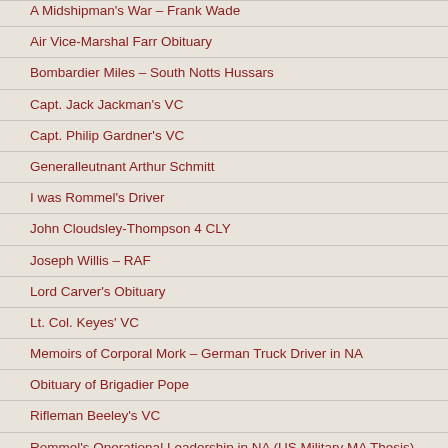A Midshipman's War – Frank Wade
Air Vice-Marshal Farr Obituary
Bombardier Miles – South Notts Hussars
Capt. Jack Jackman's VC
Capt. Philip Gardner's VC
Generalleutnant Arthur Schmitt
I was Rommel's Driver
John Cloudsley-Thompson 4 CLY
Joseph Willis – RAF
Lord Carver's Obituary
Lt. Col. Keyes' VC
Memoirs of Corporal Mork – German Truck Driver in NA
Obituary of Brigadier Pope
Rifleman Beeley's VC
Rommel's Operational Leadership in NA (US Military MA Thesis)